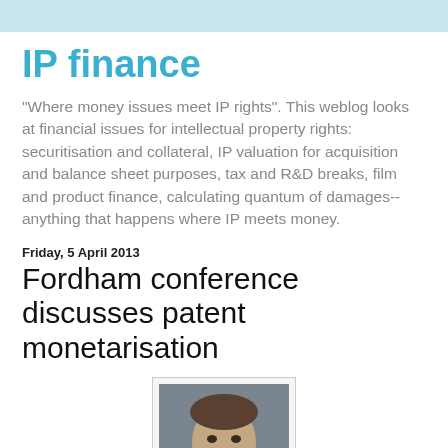IP finance
"Where money issues meet IP rights". This weblog looks at financial issues for intellectual property rights: securitisation and collateral, IP valuation for acquisition and balance sheet purposes, tax and R&D breaks, film and product finance, calculating quantum of damages--anything that happens where IP meets money.
Friday, 5 April 2013
Fordham conference discusses patent monetarisation
[Figure (photo): Headshot photo of a man in a suit and tie, smiling]
This year's Fordham IP Conference dedicated a "sunrise